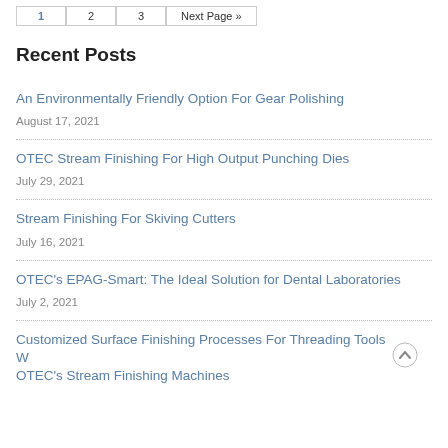1 2 3 Next Page »
Recent Posts
An Environmentally Friendly Option For Gear Polishing
August 17, 2021
OTEC Stream Finishing For High Output Punching Dies
July 29, 2021
Stream Finishing For Skiving Cutters
July 16, 2021
OTEC's EPAG-Smart: The Ideal Solution for Dental Laboratories
July 2, 2021
Customized Surface Finishing Processes For Threading Tools With OTEC's Stream Finishing Machines